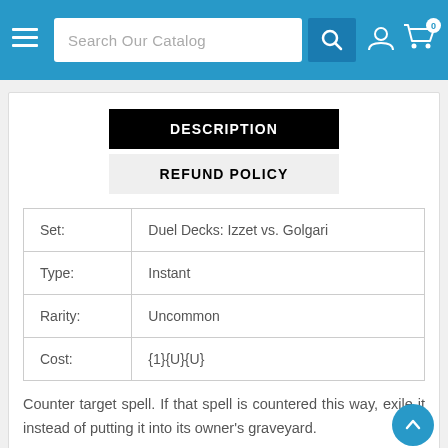Search Our Catalog
DESCRIPTION
REFUND POLICY
| Set: | Duel Decks: Izzet vs. Golgari |
| Type: | Instant |
| Rarity: | Uncommon |
| Cost: | {1}{U}{U} |
Counter target spell. If that spell is countered this way, exile it instead of putting it into its owner's graveyard.